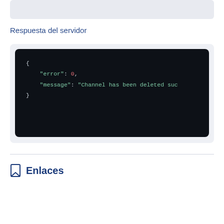Respuesta del servidor
[Figure (screenshot): Dark-themed code block showing JSON server response: { "error": 0, "message": "Channel has been deleted suc... }]
Enlaces